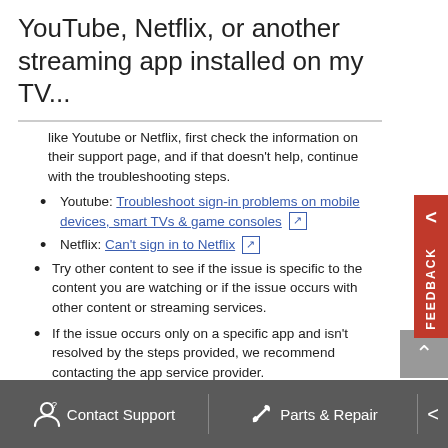YouTube, Netflix, or another streaming app installed on my TV...
like Youtube or Netflix, first check the information on their support page, and if that doesn't help, continue with the troubleshooting steps.
Youtube: Troubleshoot sign-in problems on mobile devices, smart TVs & game consoles
Netflix: Can't sign in to Netflix
Try other content to see if the issue is specific to the content you are watching or if the issue occurs with other content or streaming services.
If the issue occurs only on a specific app and isn't resolved by the steps provided, we recommend contacting the app service provider.
Contact Support   Parts & Repair